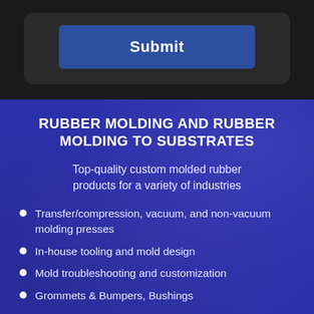[Figure (screenshot): Submit button inside a dark rounded form box on a dark background]
RUBBER MOLDING AND RUBBER MOLDING TO SUBSTRATES
Top-quality custom molded rubber products for a variety of industries
Transfer/compression, vacuum, and non-vacuum molding presses
In-house tooling and mold design
Mold troubleshooting and customization
Grommets & Bumpers, Bushings